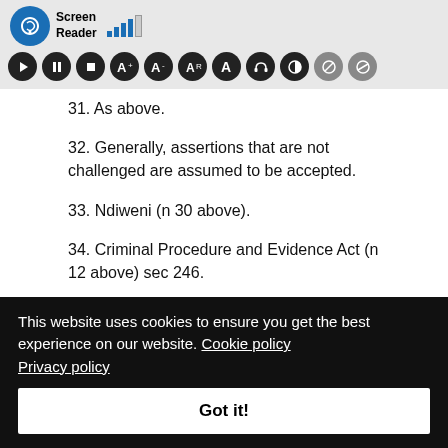[Figure (screenshot): Screen Reader toolbar with logo, signal bars, and control icons (play, pause, stop, font size, contrast, etc.)]
31. As above.
32. Generally, assertions that are not challenged are assumed to be accepted.
33. Ndiweni (n 30 above).
34. Criminal Procedure and Evidence Act (n 12 above) sec 246.
35. Criminal Procedure and Evidence Act (n 12 above) sec
This website uses cookies to ensure you get the best experience on our website. Cookie policy Privacy policy
Got it!